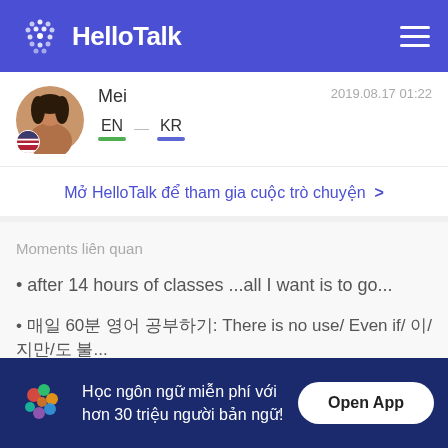HelloTalk
[Figure (screenshot): HelloTalk app profile card showing user Mei with EN to KR language exchange, dated 2019.08.17 01:22, with a link to open HelloTalk conversation, related Moments section, and a bottom banner to open the app.]
Mei  2019.08.17 01:22  EN → KR
Mở HelloTalk để tham gia cuộc trò chuyện >
Moments liên quan
after 14 hours of classes ...all I want is to go...
매일 60분 영어 공부하기: There is no use/ Even if/ 이/지만/도 불...
Học ngôn ngữ miễn phí với hơn 30 triệu người bản ngữ!